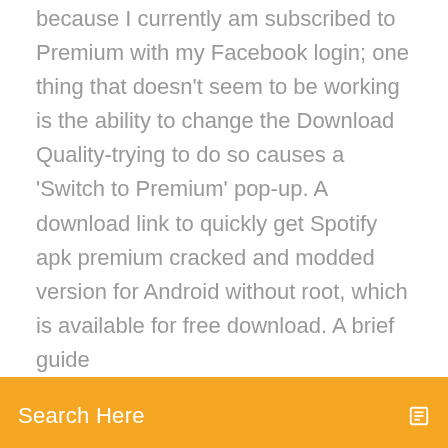because I currently am subscribed to Premium with my Facebook login; one thing that doesn't seem to be working is the ability to change the Download Quality-trying to do so causes a 'Switch to Premium' pop-up. A download link to quickly get Spotify apk premium cracked and modded version for Android without root, which is available for free download. A brief guide
Search Here
free. The most obvious benefit is the removal of the ads. Add to that the ability to listen offline, and you can take your music anywhere you want. And, if you don't want to listen to using your phone or desktop, you can also access the entire library using a Spotify-compatible home stereo system. Download this app from Microsoft Store for Windows 10 Mobile, Windows Phone 8.1, Windows Phone 8. What's new in this version. but unless you pay for premium you have to listen to random songs Spotify throws in occasionally, and you can't skip any songs at all. 4 out of 5 people found this helpful. T. Reviewed By theii. Spotify is a